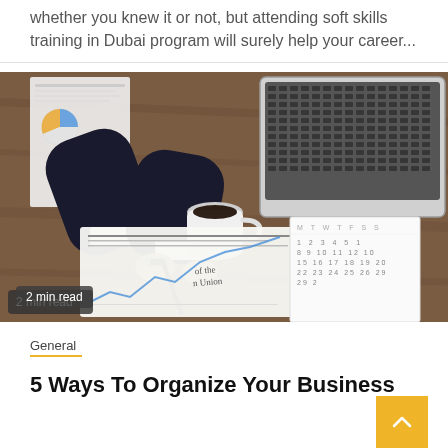whether you knew it or not, but attending soft skills training in Dubai program will surely help your career...
[Figure (photo): Overhead view of a businessman working at a wooden desk with documents, charts, a coffee cup, a laptop, and a calendar — business workspace scene]
2 min read
General
5 Ways To Organize Your Business